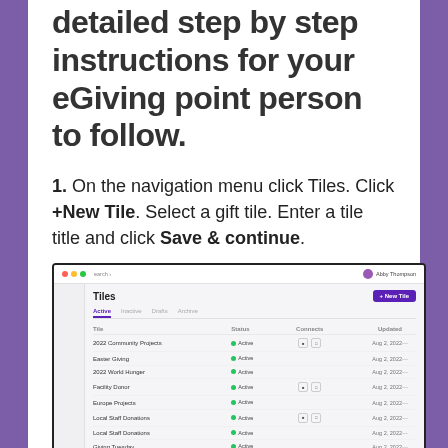detailed step by step instructions for your eGiving point person to follow.
1. On the navigation menu click Tiles. Click +New Tile. Select a gift tile. Enter a tile title and click Save & continue.
[Figure (screenshot): Screenshot of a Tiles management interface showing a list of tiles with columns for Title, Status, Connect, and Updated. Tiles listed include 2022 Community Projects, Easter Giving, 2022 World Hunger, Facility Donor, Europe Projects, Local Staff Donations (multiple), and Giving Tuesday. A purple '+New Tile' button is visible in the top right corner.]